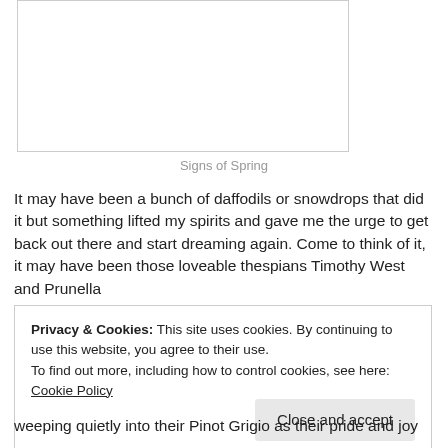[Figure (photo): A blank/white image box with a thin border, presumably a photo placeholder for 'Signs of Spring']
Signs of Spring
It may have been a bunch of daffodils or snowdrops that did it but something lifted my spirits and gave me the urge to get back out there and start dreaming again. Come to think of it, it may have been those loveable thespians Timothy West and Prunella
Privacy & Cookies: This site uses cookies. By continuing to use this website, you agree to their use.
To find out more, including how to control cookies, see here: Cookie Policy
Close and accept
weeping quietly into their Pinot Grigio as their pride and joy